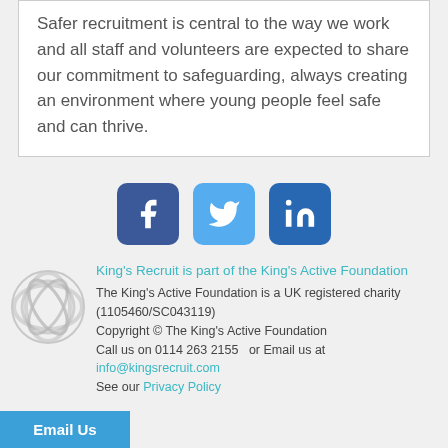Safer recruitment is central to the way we work and all staff and volunteers are expected to share our commitment to safeguarding, always creating an environment where young people feel safe and can thrive.
[Figure (infographic): Three social media icons: Facebook (dark blue), Twitter (light blue), LinkedIn (dark blue)]
[Figure (logo): King's Active Foundation logo — grey interlinked circular design]
King's Recruit is part of the King's Active Foundation
The King's Active Foundation is a UK registered charity (1105460/SC043119)
Copyright © The King's Active Foundation
Call us on 0114 263 2155  or Email us at info@kingsrecruit.com
See our Privacy Policy
Email Us